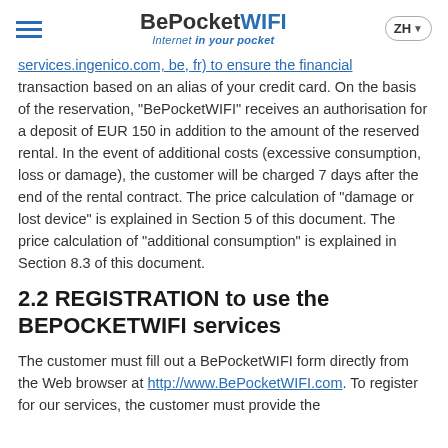BePocketWIFI — Internet in your pocket
services.ingenico.com, be, fr) to ensure the financial transaction based on an alias of your credit card. On the basis of the reservation, "BePocketWIFI" receives an authorisation for a deposit of EUR 150 in addition to the amount of the reserved rental. In the event of additional costs (excessive consumption, loss or damage), the customer will be charged 7 days after the end of the rental contract. The price calculation of "damage or lost device" is explained in Section 5 of this document. The price calculation of "additional consumption" is explained in Section 8.3 of this document.
2.2 REGISTRATION to use the BEPOCKETWIFI services
The customer must fill out a BePocketWIFI form directly from the Web browser at http://www.BePocketWIFI.com. To register for our services, the customer must provide the